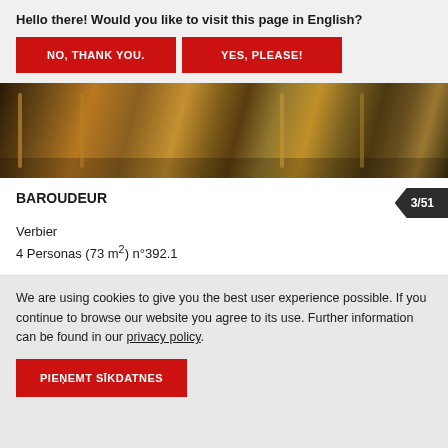Hello there! Would you like to visit this page in English?
NO, THANK YOU.
YES, PLEASE!
[Figure (photo): Close-up photo of wooden chairs with dark cushions on a stone tile floor, partially obscured by dialog overlay]
BAROUDEUR
3/51
Verbier
4 Personas (73 m²) n°392.1
We are using cookies to give you the best user experience possible. If you continue to browse our website you agree to its use. Further information can be found in our privacy policy.
PIEŅEMT SĪKDATNES